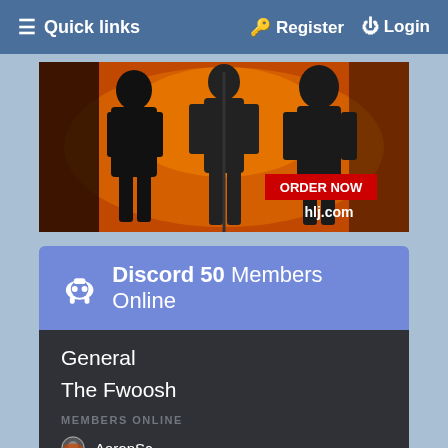☰ Quick links   🔑 Register   ⏻ Login
[Figure (photo): Advertisement banner showing action figures in dark outfits against an orange/fire background with ORDER NOW button and hlj.com text]
Discord 50 Members Online
General
The Fwoosh
MEMBERS ONLINE
AaronSc
AMAZON